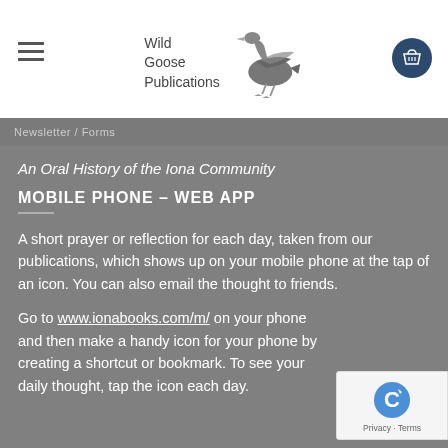Wild Goose Publications
Newsletter / Forms
An Oral History of the Iona Community
MOBILE PHONE – WEB APP
A short prayer or reflection for each day, taken from our publications, which shows up on your mobile phone at the tap of an icon. You can also email the thought to friends.
Go to www.ionabooks.com/m/ on your phone and then make a handy icon for your phone by creating a shortcut or bookmark. To see your daily thought, tap the icon each day.